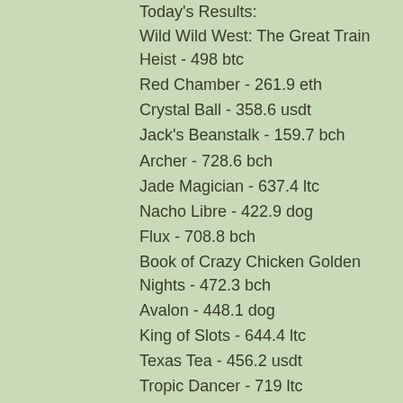Today's Results:
Wild Wild West: The Great Train Heist - 498 btc
Red Chamber - 261.9 eth
Crystal Ball - 358.6 usdt
Jack's Beanstalk - 159.7 bch
Archer - 728.6 bch
Jade Magician - 637.4 ltc
Nacho Libre - 422.9 dog
Flux - 708.8 bch
Book of Crazy Chicken Golden Nights - 472.3 bch
Avalon - 448.1 dog
King of Slots - 644.4 ltc
Texas Tea - 456.2 usdt
Tropic Dancer - 719 ltc
Mirror Magic - 462.3 eth
Big Chef - 531.7 dog
Popular Slots:
OneHash Fresh Fortune